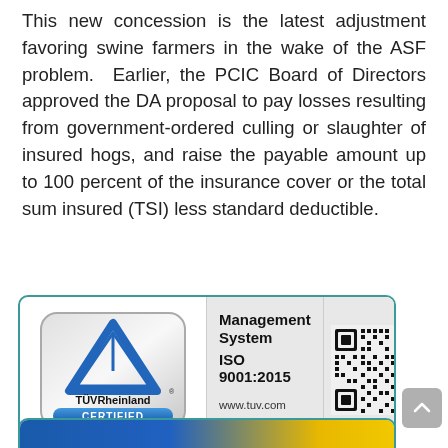This new concession is the latest adjustment favoring swine farmers in the wake of the ASF problem.  Earlier, the PCIC Board of Directors approved the DA proposal to pay losses resulting from government-ordered culling or slaughter of insured hogs, and raise the payable amount up to 100 percent of the insurance cover or the total sum insured (TSI) less standard deductible.
[Figure (logo): TÜVRheinland CERTIFIED logo badge with Management System ISO 9001:2015 text and QR code. URL www.tuv.com ID 9105064142 shown below.]
[Figure (other): Partially visible bottom certification banner with blue and yellow/gold colors, appears to be another certification logo strip.]